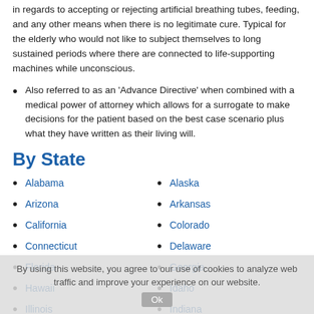in regards to accepting or rejecting artificial breathing tubes, feeding, and any other means when there is no legitimate cure. Typical for the elderly who would not like to subject themselves to long sustained periods where there are connected to life-supporting machines while unconscious.
Also referred to as an 'Advance Directive' when combined with a medical power of attorney which allows for a surrogate to make decisions for the patient based on the best case scenario plus what they have written as their living will.
By State
Alabama
Alaska
Arizona
Arkansas
California
Colorado
Connecticut
Delaware
Florida
Georgia
Hawaii
Idaho
Illinois
Indiana
Iowa
Kansas